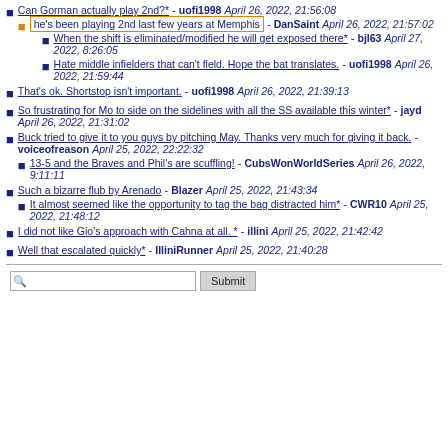Can Gorman actually play 2nd?* - uofi1998 April 26, 2022, 21:56:08
he's been playing 2nd last few years at Memphis - DanSaint April 26, 2022, 21:57:02
When the shift is eliminated/modified he will get exposed there* - bjl63 April 27, 2022, 8:26:05
Hate middle infielders that can't field. Hope the bat translates. - uofi1998 April 26, 2022, 21:59:44
That's ok. Shortstop isn't important. - uofi1998 April 26, 2022, 21:39:13
So frustrating for Mo to side on the sidelines with all the SS available this winter* - jayd April 26, 2022, 21:31:02
Buck tried to give it to you guys by pitching May. Thanks very much for giving it back. - voiceofreason April 25, 2022, 22:22:32
13-5 and the Braves and Phil's are scuffling! - CubsWonWorldSeries April 26, 2022, 9:11:11
Such a bizarre flub by Arenado - Blazer April 25, 2022, 21:43:34
It almost seemed like the opportunity to tag the bag distracted him* - CWR10 April 25, 2022, 21:48:12
I did not like Gio's approach with Cahna at all. * - illini April 25, 2022, 21:42:42
Well that escalated quickly* - IlliniRunner April 25, 2022, 21:40:28